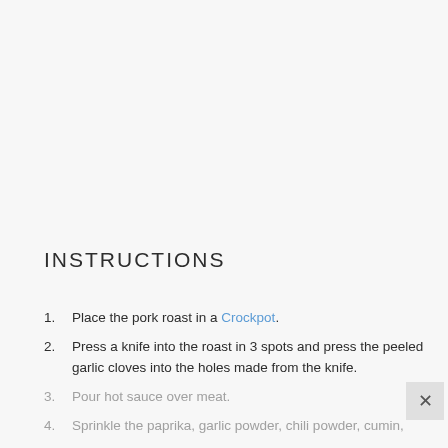INSTRUCTIONS
Place the pork roast in a Crockpot.
Press a knife into the roast in 3 spots and press the peeled garlic cloves into the holes made from the knife.
Pour hot sauce over meat.
Sprinkle the paprika, garlic powder, chili powder, cumin,